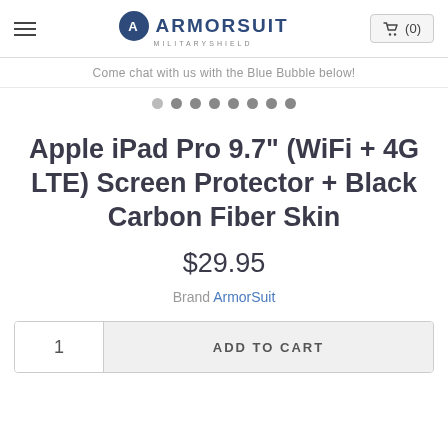ArmorSuit MilitaryShield — navigation header with hamburger menu, logo, and cart (0)
Come chat with us with the Blue Bubble below!
Apple iPad Pro 9.7" (WiFi + 4G LTE) Screen Protector + Black Carbon Fiber Skin
$29.95
Brand ArmorSuit
1  ADD TO CART